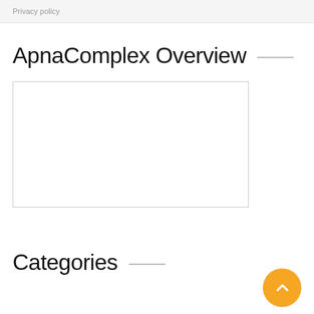Privacy policy
ApnaComplex Overview
[Figure (other): Empty rectangular video/media embed box with a thin gray border]
Categories